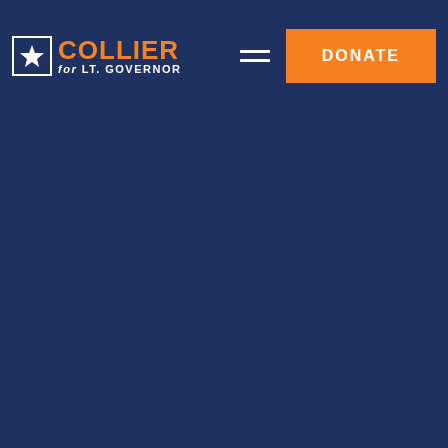[Figure (logo): Collier for Lt. Governor campaign logo: white star icon in navy square border, orange 'COLLIER' text, white 'for LT. GOVERNOR' subtext]
[Figure (other): Hamburger menu icon — two white horizontal lines]
[Figure (other): Orange DONATE button with white bold uppercase text]